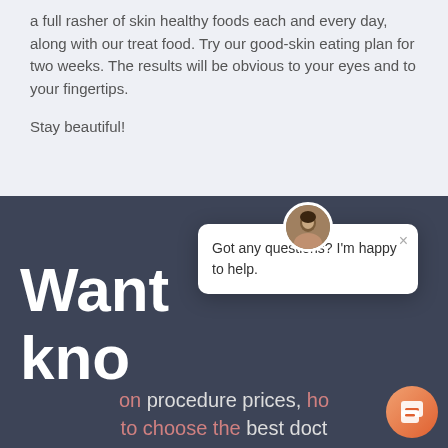a full rasher of skin healthy foods each and every day, along with our treat food. Try our good-skin eating plan for two weeks. The results will be obvious to your eyes and to your fingertips.
Stay beautiful!
[Figure (screenshot): Dark blue-grey website section with large white bold text 'Want to know' partially visible, with subtext about procedure prices, choosing the best doctor and more. A chat popup overlay shows an avatar and message 'Got any questions? I'm happy to help.' with a close button. An orange chat button is in the bottom right corner.]